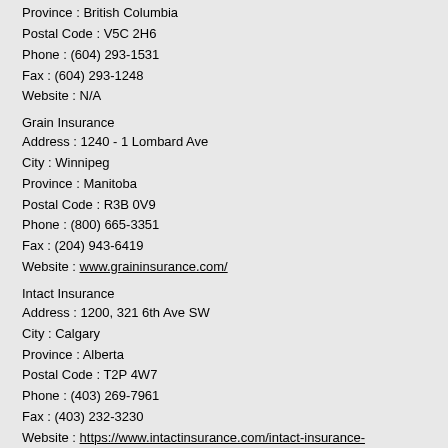Province : British Columbia
Postal Code : V5C 2H6
Phone : (604) 293-1531
Fax : (604) 293-1248
Website : N/A
Grain Insurance
Address : 1240 - 1 Lombard Ave
City : Winnipeg
Province : Manitoba
Postal Code : R3B 0V9
Phone : (800) 665-3351
Fax : (204) 943-6419
Website : www.graininsurance.com/
Intact Insurance
Address : 1200, 321 6th Ave SW
City : Calgary
Province : Alberta
Postal Code : T2P 4W7
Phone : (403) 269-7961
Fax : (403) 232-3230
Website : https://www.intactinsurance.com/intact-insurance-alberta.html
Jardine Lloyd Thompson
Address : #350, 4396 West Saanich Road
City : Victoria
Province : British Columbia
Postal Code : V8Z 3E9
Phone : (250) 388-4416
Fax : N/A
Website : www.jltcanada.com/index_en.htm
Jerneld Martin...